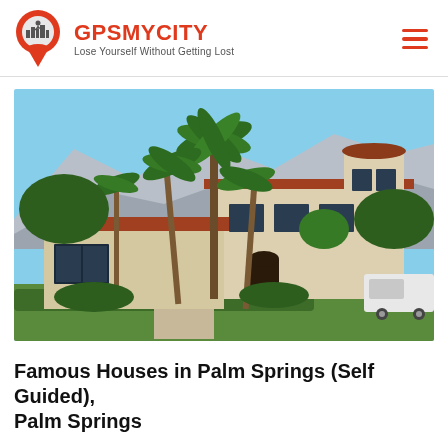GPSMYCITY — Lose Yourself Without Getting Lost
[Figure (photo): Exterior photo of a Spanish Colonial Revival style house in Palm Springs with terracotta tile roof, stucco walls, tall palm trees, and mountain backdrop under blue sky.]
Famous Houses in Palm Springs (Self Guided), Palm Springs